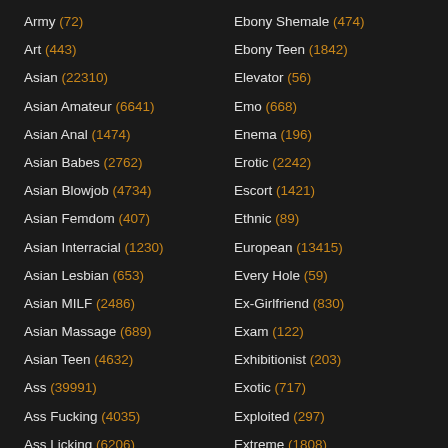Army (72)
Ebony Shemale (474)
Art (443)
Ebony Teen (1842)
Asian (22310)
Elevator (56)
Asian Amateur (6641)
Emo (668)
Asian Anal (1474)
Enema (196)
Asian Babes (2762)
Erotic (2242)
Asian Blowjob (4734)
Escort (1421)
Asian Femdom (407)
Ethnic (89)
Asian Interracial (1230)
European (13415)
Asian Lesbian (653)
Every Hole (59)
Asian MILF (2486)
Ex-Girlfriend (830)
Asian Massage (689)
Exam (122)
Asian Teen (4632)
Exhibitionist (203)
Ass (39991)
Exotic (717)
Ass Fucking (4035)
Exploited (297)
Ass Licking (6206)
Extreme (1808)